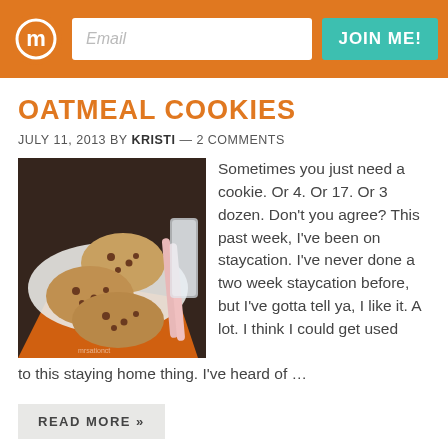Email  JOIN ME!
OATMEAL COOKIES
JULY 11, 2013 BY KRISTI — 2 COMMENTS
[Figure (photo): Photo of oatmeal chocolate chip cookies on a plate with a glass of milk and orange napkin on a dark wood surface. Watermark: mrsationct]
Sometimes you just need a cookie. Or 4. Or 17. Or 3 dozen. Don't you agree? This past week, I've been on staycation. I've never done a two week staycation before, but I've gotta tell ya, I like it. A lot. I think I could get used to this staying home thing. I've heard of …
READ MORE »
FILED UNDER: COOKIES, DESSERTS
TAGGED WITH: CHOCOLATE CHIP OATMEAL, CHOCOLATE